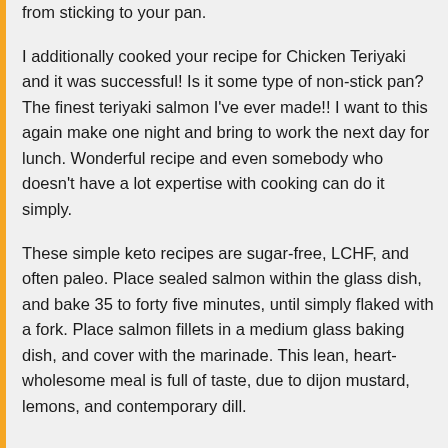from sticking to your pan.
I additionally cooked your recipe for Chicken Teriyaki and it was successful! Is it some type of non-stick pan? The finest teriyaki salmon I've ever made!! I want to this again make one night and bring to work the next day for lunch. Wonderful recipe and even somebody who doesn't have a lot expertise with cooking can do it simply.
These simple keto recipes are sugar-free, LCHF, and often paleo. Place sealed salmon within the glass dish, and bake 35 to forty five minutes, until simply flaked with a fork. Place salmon fillets in a medium glass baking dish, and cover with the marinade. This lean, heart-wholesome meal is full of taste, due to dijon mustard, lemons, and contemporary dill.